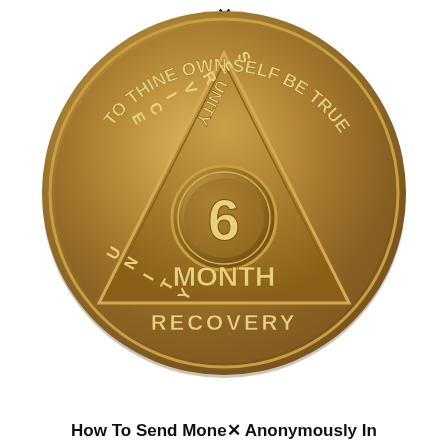[Figure (photo): A bronze/gold AA (Alcoholics Anonymous) 6 Month Recovery medallion coin. The coin features a triangle with 'UNITY' on the left side and 'SERVICE' on the right side inside the triangle. A teardrop/circle in the center of the triangle contains the number '6'. Below the circle reads 'MONTH' and below the triangle reads 'RECOVERY'. Around the outer rim of the coin reads 'TO THINE OWN SELF BE TRUE'. A small close/X icon appears at the top of the image above the coin.]
How To Send Money Anonymously In